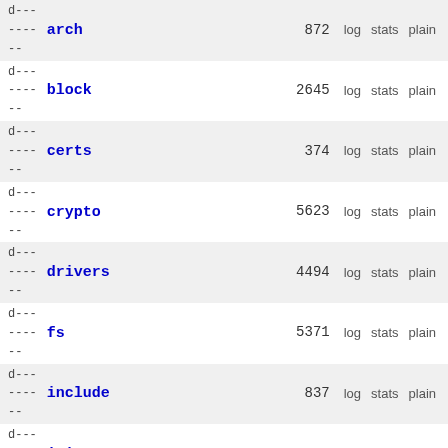d--- ---- arch 872 log stats plain
d--- ---- block 2645 log stats plain
d--- ---- certs 374 log stats plain
d--- ---- crypto 5623 log stats plain
d--- ---- drivers 4494 log stats plain
d--- ---- fs 5371 log stats plain
d--- ---- include 837 log stats plain
d--- ---- init 508 log stats plain
d--- ---- ipc 467 log stats plain
d---